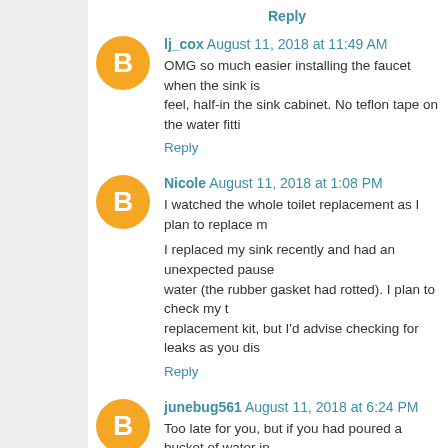Reply
lj_cox August 11, 2018 at 11:49 AM
OMG so much easier installing the faucet when the sink is feel, half-in the sink cabinet. No teflon tape on the water fitti
Reply
Nicole August 11, 2018 at 1:08 PM
I watched the whole toilet replacement as I plan to replace m
I replaced my sink recently and had an unexpected pause water (the rubber gasket had rotted). I plan to check my t replacement kit, but I'd advise checking for leaks as you dis
Reply
junebug561 August 11, 2018 at 6:24 PM
Too late for you, but if you had poured a bucket of water in in case you ever need to change a toilet again.
Reply
Replies